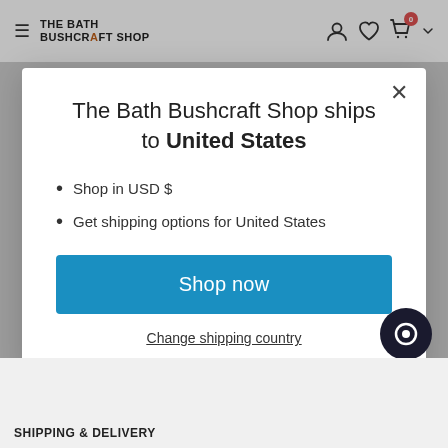THE BATH BUSHCRAFT SHOP
The Bath Bushcraft Shop ships to United States
Shop in USD $
Get shipping options for United States
Shop now
Change shipping country
SHIPPING & DELIVERY